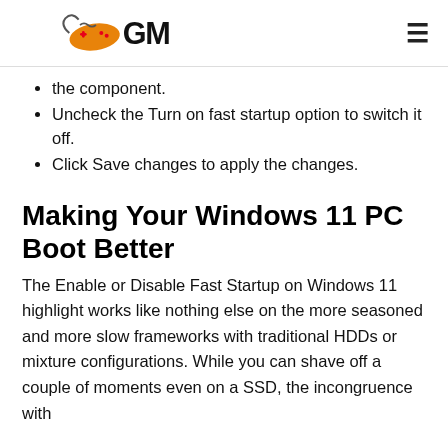GM (logo with gamepad icon)
the component.
Uncheck the Turn on fast startup option to switch it off.
Click Save changes to apply the changes.
Making Your Windows 11 PC Boot Better
The Enable or Disable Fast Startup on Windows 11 highlight works like nothing else on the more seasoned and more slow frameworks with traditional HDDs or mixture configurations. While you can shave off a couple of moments even on a SSD, the incongruence with double boot machines with Windows often is...